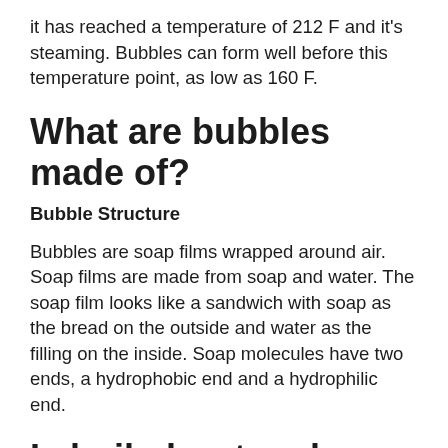it has reached a temperature of 212 F and it's steaming. Bubbles can form well before this temperature point, as low as 160 F.
What are bubbles made of?
Bubble Structure
Bubbles are soap films wrapped around air. Soap films are made from soap and water. The soap film looks like a sandwich with soap as the bread on the outside and water as the filling on the inside. Soap molecules have two ends, a hydrophobic end and a hydrophilic end.
Is boiled water always safe